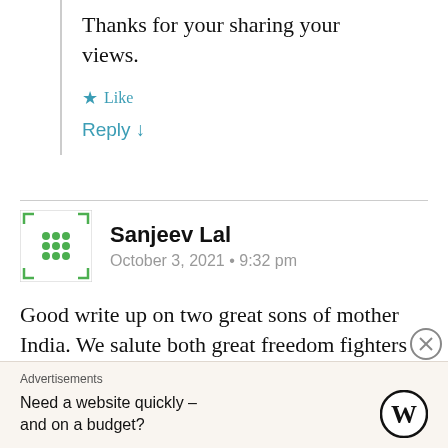Thanks for your sharing your views.
Like
Reply ↓
Sanjeev Lal
October 3, 2021 • 9:32 pm
Good write up on two great sons of mother India. We salute both great freedom fighters of our nation.
Advertisements
Need a website quickly – and on a budget?